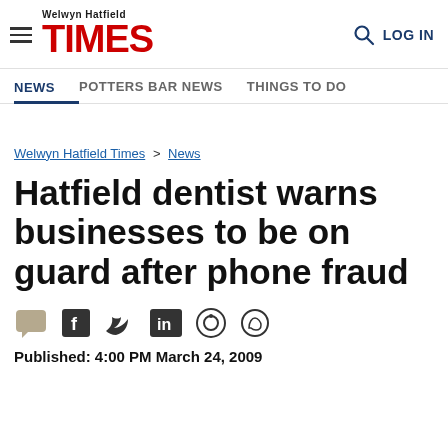Welwyn Hatfield TIMES
NEWS | POTTERS BAR NEWS | THINGS TO DO
Welwyn Hatfield Times > News
Hatfield dentist warns businesses to be on guard after phone fraud
Published: 4:00 PM March 24, 2009